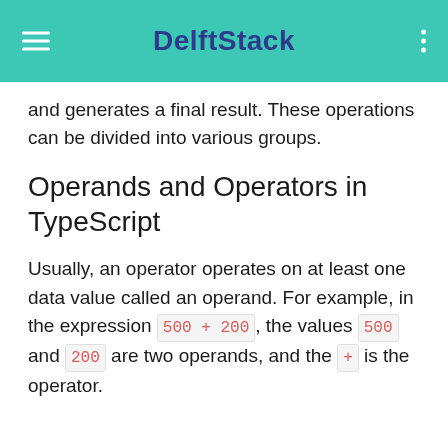DelftStack
and generates a final result. These operations can be divided into various groups.
Operands and Operators in TypeScript
Usually, an operator operates on at least one data value called an operand. For example, in the expression 500 + 200, the values 500 and 200 are two operands, and the + is the operator.